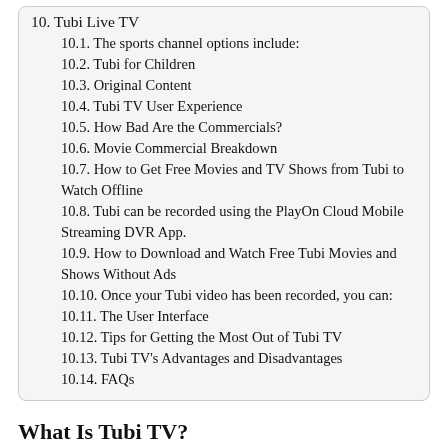10. Tubi Live TV
10.1. The sports channel options include:
10.2. Tubi for Children
10.3. Original Content
10.4. Tubi TV User Experience
10.5. How Bad Are the Commercials?
10.6. Movie Commercial Breakdown
10.7. How to Get Free Movies and TV Shows from Tubi to Watch Offline
10.8. Tubi can be recorded using the PlayOn Cloud Mobile Streaming DVR App.
10.9. How to Download and Watch Free Tubi Movies and Shows Without Ads
10.10. Once your Tubi video has been recorded, you can:
10.11. The User Interface
10.12. Tips for Getting the Most Out of Tubi TV
10.13. Tubi TV's Advantages and Disadvantages
10.14. FAQs
What Is Tubi TV?
Tubi is a free streaming service that provides on-demand